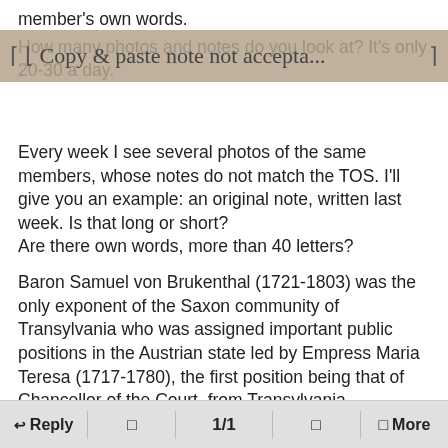member's own words.
How many photos and notes do you look at? It's only 20-30 a day.
Copy & paste note not accepta...
Every week I see several photos of the same members, whose notes do not match the TOS. I'll give you an example: an original note, written last week. Is that long or short?
Are there own words, more than 40 letters?
Baron Samuel von Brukenthal (1721-1803) was the only exponent of the Saxon community of Transylvania who was assigned important public positions in the Austrian state led by Empress Maria Teresa (1717-1780), the first position being that of Chancellor of the Court. from Transylvania.
The period he spent in Vienna as such coincides with the period of creation of his collection of paintings, mentioned in 1773 in the Vienna Almanac as one of the most
↩ Reply  □  1/1  □  □ More